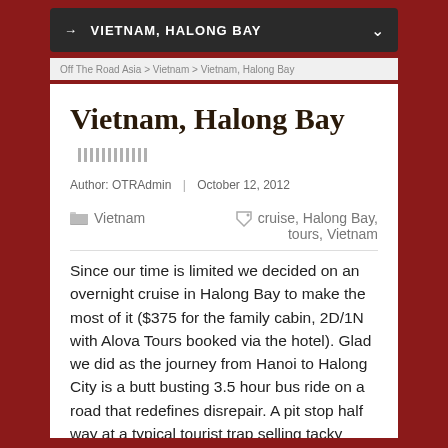→ VIETNAM, HALONG BAY
Off The Road Asia > Vietnam > Vietnam, Halong Bay
Vietnam, Halong Bay
Author: OTRAdmin | October 12, 2012
Vietnam | cruise, Halong Bay, tours, Vietnam
Since our time is limited we decided on an overnight cruise in Halong Bay to make the most of it ($375 for the family cabin, 2D/1N with Alova Tours booked via the hotel). Glad we did as the journey from Hanoi to Halong City is a butt busting 3.5 hour bus ride on a road that redefines disrepair. A pit stop half way at a typical tourist trap selling tacky souvenirs and overpriced artwork and crafts was little rest bite. Never again will I